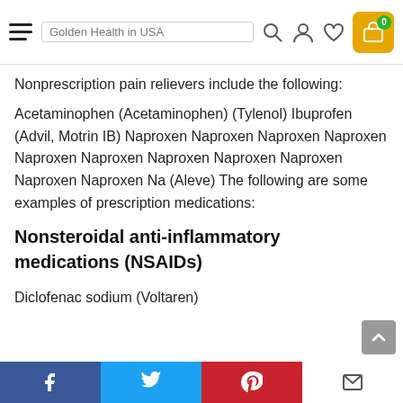Golden Health in USA — navigation bar with hamburger menu, logo, search, account, wishlist, cart (0) icons
Nonprescription pain relievers include the following:
Acetaminophen (Acetaminophen) (Tylenol) Ibuprofen (Advil, Motrin IB) Naproxen Naproxen Naproxen Naproxen Naproxen Naproxen Naproxen Naproxen Naproxen Naproxen Naproxen Na (Aleve) The following are some examples of prescription medications:
Nonsteroidal anti-inflammatory medications (NSAIDs)
Diclofenac sodium (Voltaren)
Social share bar: Facebook, Twitter, Pinterest, Email